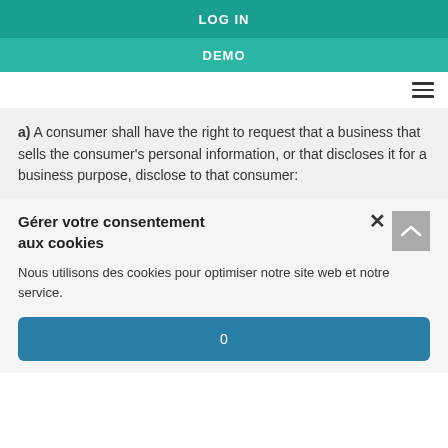LOG IN
DEMO
a) A consumer shall have the right to request that a business that sells the consumer's personal information, or that discloses it for a business purpose, disclose to that consumer:
Gérer votre consentement aux cookies
Nous utilisons des cookies pour optimiser notre site web et notre service.
0